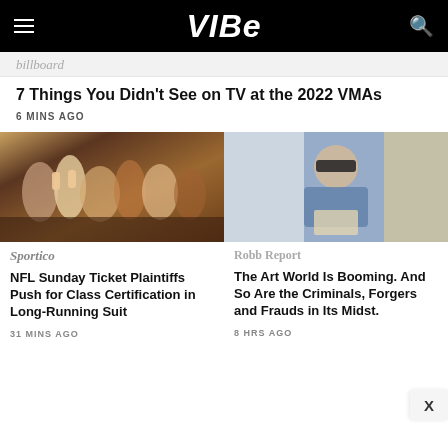VIBE
billboard
7 Things You Didn't See on TV at the 2022 VMAs
6 MINS AGO
[Figure (photo): Crowd of sports fans watching TV, some with hands on their faces in shock or dismay]
[Figure (photo): Painting of a man in a blue jacket wearing a black eye mask, in classic portrait style]
Sportico
Robb Report
NFL Sunday Ticket Plaintiffs Push for Class Certification in Long-Running Suit
The Art World Is Booming. And So Are the Criminals, Forgers and Frauds in Its Midst.
31 MINS AGO
8 HRS AGO